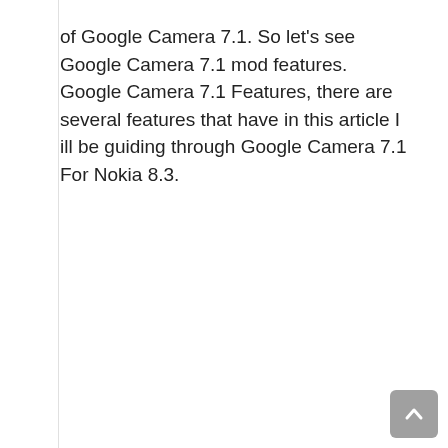of Google Camera 7.1. So let's see Google Camera 7.1 mod features. Google Camera 7.1 Features, there are several features that have in this article I ill be guiding through Google Camera 7.1 For Nokia 8.3.